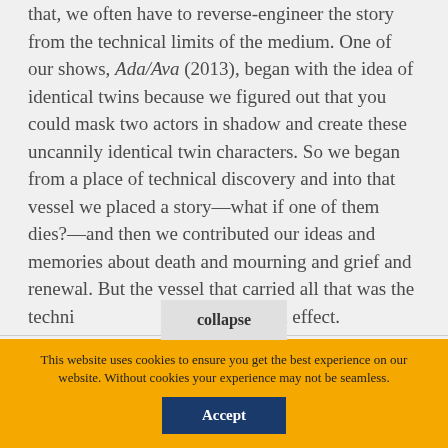that, we often have to reverse-engineer the story from the technical limits of the medium. One of our shows, Ada/Ava (2013), began with the idea of identical twins because we figured out that you could mask two actors in shadow and create these uncannily identical twin characters. So we began from a place of technical discovery and into that vessel we placed a story—what if one of them dies?—and then we contributed our ideas and memories about death and mourning and grief and renewal. But the vessel that carried all that was the techni[collapse]he special effect.
You are not currently authenticated. If you would like to authenticate using a different subscribed institution or
This website uses cookies to ensure you get the best experience on our website. Without cookies your experience may not be seamless.
Accept